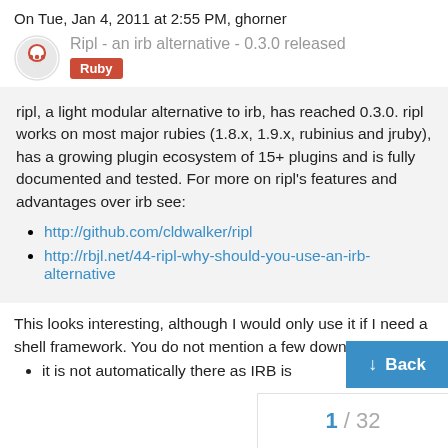On Tue, Jan 4, 2011 at 2:55 PM, ghorner
Ripl - an irb alternative - 0.3.0 released
Ruby
ripl, a light modular alternative to irb, has reached 0.3.0. ripl works on most major rubies (1.8.x, 1.9.x, rubinius and jruby), has a growing plugin ecosystem of 15+ plugins and is fully documented and tested. For more on ripl's features and advantages over irb see:
http://github.com/cldwalker/ripl
http://rbjl.net/44-ripl-why-should-you-use-an-irb-alternative
This looks interesting, although I would only use it if I need a shell framework. You do not mention a few downsides of ripl:
it is not automatically there as IRB is
1 / 32